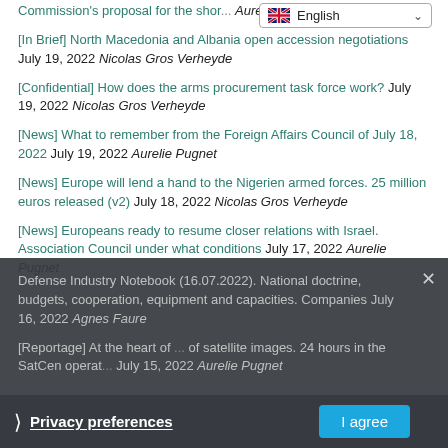Commission's proposal for the short-term ... Aurelie Pugnet
[In Brief] North Macedonia and Albania open accession negotiations July 19, 2022 Nicolas Gros Verheyde
[Confidential] How does the arms procurement task force work? July 19, 2022 Nicolas Gros Verheyde
[News] What to remember from the Foreign Affairs Council of July 18, 2022 July 19, 2022 Aurelie Pugnet
[News] Europe will lend a hand to the Nigerien armed forces. 25 million euros released (v2) July 18, 2022 Nicolas Gros Verheyde
[News] Europeans ready to resume closer relations with Israel. Association Council under what conditions July 17, 2022 Aurelie Pugnet
Defense Industry Notebook (16.07.2022). National doctrine, budgets, cooperation, equipment and capacities. Companies July 16, 2022 Agnes Faure
[Reportage] At the heart of ... of satellite images. 24 hours in the SatCen operations ... July 15, 2022 Aurelie Pugnet